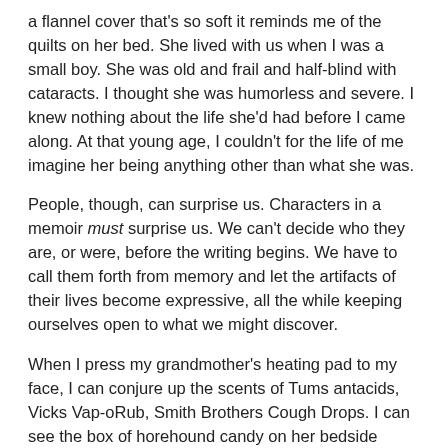a flannel cover that's so soft it reminds me of the quilts on her bed. She lived with us when I was a small boy. She was old and frail and half-blind with cataracts. I thought she was humorless and severe. I knew nothing about the life she'd had before I came along. At that young age, I couldn't for the life of me imagine her being anything other than what she was.
People, though, can surprise us. Characters in a memoir must surprise us. We can't decide who they are, or were, before the writing begins. We have to call them forth from memory and let the artifacts of their lives become expressive, all the while keeping ourselves open to what we might discover.
When I press my grandmother's heating pad to my face, I can conjure up the scents of Tums antacids, Vicks Vap-oRub, Smith Brothers Cough Drops. I can see the box of horehound candy on her bedside table, the Black Draught laxative, the hymnal with its yellowed pages. I can remember the sun bonnets she wore, the support hose, the cotton dresses. So much returns to me because of that heating pad. I'm lucky to have this artifact, but objects, though physically absent, can be just as vivid and as evocative as the real things. All you have to do is daydream yourself back into time and remember the